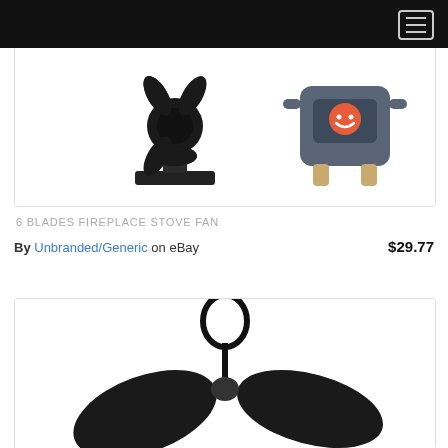Navigation header with menu button
[Figure (photo): Product image showing a black fireplace stove fan on the left and a cartoon/illustration of a heater with a smiley face on the right, on white background]
6 BLADES FIREPLACE STOVE FAN
By Unbranded/Generic on eBay $29.77
[Figure (photo): Product image showing a black fireplace fan with blades visible against a white background, close-up partial view]